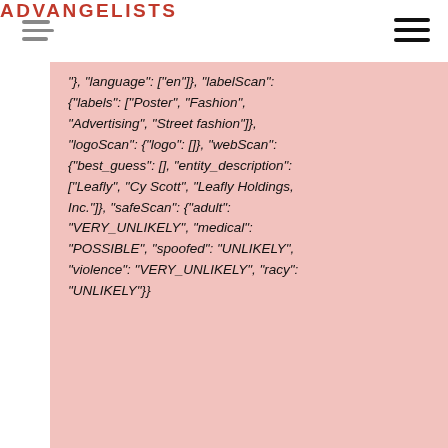ADVANGELISTS
"}, "language": ["en"]}, "labelScan": {"labels": ["Poster", "Fashion", "Advertising", "Street fashion"]}, "logoScan": {"logo": []}, "webScan": {"best_guess": [], "entity_description": ["Leafly", "Cy Scott", "Leafly Holdings, Inc."]}, "safeScan": {"adult": "VERY_UNLIKELY", "medical": "POSSIBLE", "spoofed": "UNLIKELY", "violence": "VERY_UNLIKELY", "racy": "UNLIKELY"}}
You can see the scan above correctly